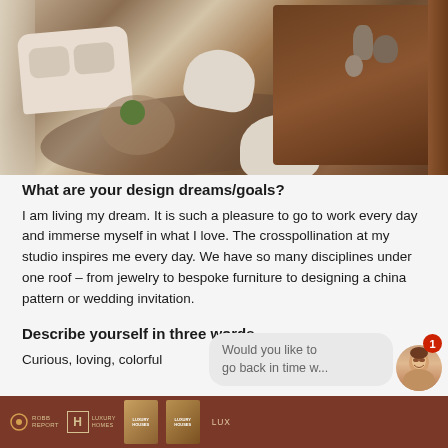[Figure (photo): Overhead/angled view of a luxury living room with cream sofas, fluffy chairs, round coffee table with plant, and dark wood cabinet with decorative vases]
What are your design dreams/goals?
I am living my dream. It is such a pleasure to go to work every day and immerse myself in what I love. The crosspollination at my studio inspires me every day. We have so many disciplines under one roof – from jewelry to bespoke furniture to designing a china pattern or wedding invitation.
Describe yourself in three words.
Curious, loving, colorful
[Figure (screenshot): Bottom bar with Luxury Homes magazine logos and book covers, chat bubble saying 'Would you like to go back in time w...' with avatar and notification badge showing 1]